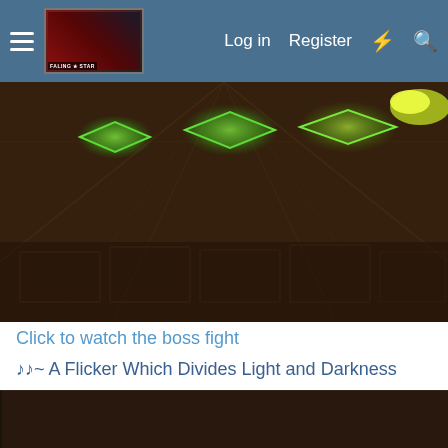Log in  Register
[Figure (screenshot): Video game screenshot showing a dark dungeon ceiling with green glowing diamond-shaped lights and ornate stone panels]
Click to watch the boss fight
♪♪~ A Flicker Which Divides Light and Darkness
Spoiler: A Flicker Which Divides Light and Darkness
[Figure (screenshot): Video game screenshot showing a character in a dark corridor with green accents and a mechanical or armored figure]